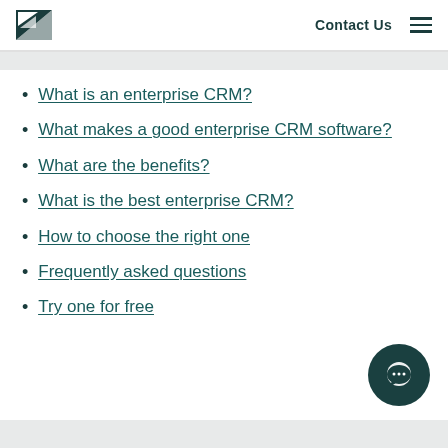Contact Us
What is an enterprise CRM?
What makes a good enterprise CRM software?
What are the benefits?
What is the best enterprise CRM?
How to choose the right one
Frequently asked questions
Try one for free
[Figure (illustration): Chat/messaging button icon (circular dark teal button with speech bubble icon)]